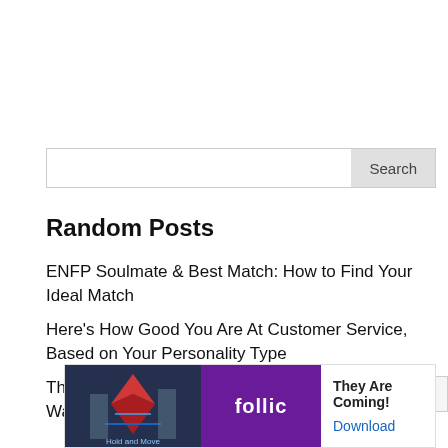Search
Random Posts
ENFP Soulmate & Best Match: How to Find Your Ideal Match
Here's How Good You Are At Customer Service, Based on Your Personality Type
The Difficult Struggles That Anxiety Sufferers Want Their Loved Ones To Understand
[Figure (other): Advertisement banner for 'They Are Coming!' game with Follic logo and Download button]